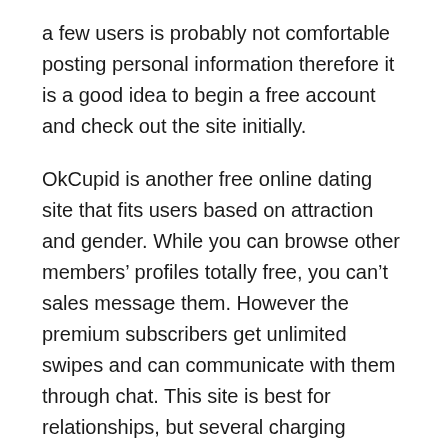a few users is probably not comfortable posting personal information therefore it is a good idea to begin a free account and check out the site initially.
OkCupid is another free online dating site that fits users based on attraction and gender. While you can browse other members' profiles totally free, you can't sales message them. However the premium subscribers get unlimited swipes and can communicate with them through chat. This site is best for relationships, but several charging affordable intended for the everyday user. Those who prefer video online dating should choose MSF more than OkCupid. That they both provide excellent features, but you should consider whether you wish to spend money on this great site.